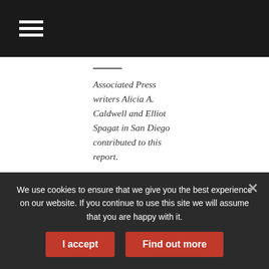Navigation menu (hamburger icon)
Associated Press writers Alicia A. Caldwell and Elliot Spagat in San Diego contributed to this report.
[Figure (other): Social share buttons: Facebook (blue), Twitter (cyan), Google+ (red), WhatsApp (green), Pinterest (red), LinkedIn (blue)]
We use cookies to ensure that we give you the best experience on our website. If you continue to use this site we will assume that you are happy with it.